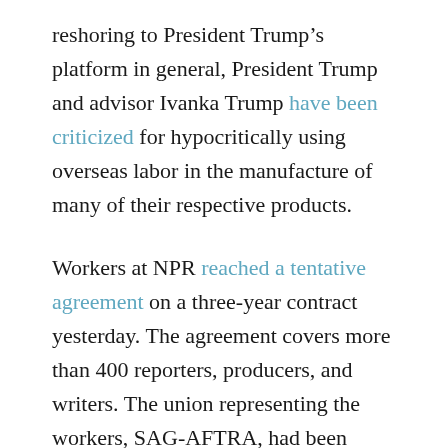reshoring to President Trump’s platform in general, President Trump and advisor Ivanka Trump have been criticized for hypocritically using overseas labor in the manufacture of many of their respective products.
Workers at NPR reached a tentative agreement on a three-year contract yesterday. The agreement covers more than 400 reporters, producers, and writers. The union representing the workers, SAG-AFTRA, had been making appeals to the public for support after two contract extensions failed to produce an acceptable deal, including [continues]